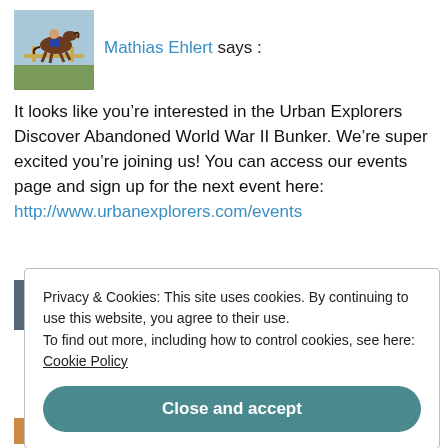[Figure (photo): Small square avatar photo showing a person on horseback jumping over a fence in an outdoor setting.]
Mathias Ehlert says :
It looks like you're interested in the Urban Explorers Discover Abandoned World War II Bunker. We're super excited you're joining us! You can access our events page and sign up for the next event here: http://www.urbanexplorers.com/events
[Figure (photo): Partial avatar thumbnail visible behind cookie banner.]
Privacy & Cookies: This site uses cookies. By continuing to use this website, you agree to their use.
To find out more, including how to control cookies, see here: Cookie Policy
Close and accept
[Figure (photo): Partial colorful avatar thumbnail at bottom left.]
...